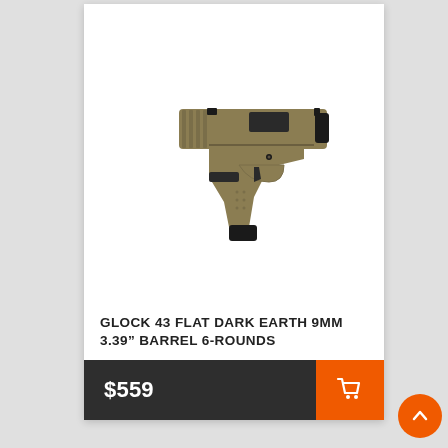[Figure (photo): Product photo of a Glock 43 Flat Dark Earth (tan/olive colored) 9mm pistol with black accents, shown in profile view against white background.]
GLOCK 43 FLAT DARK EARTH 9MM 3.39" BARREL 6-ROUNDS
$559